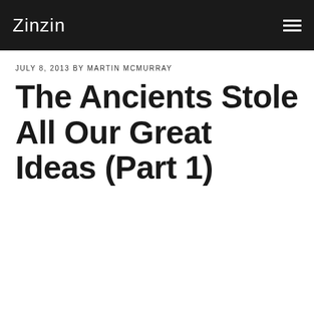Zinzin
JULY 8, 2013 BY MARTIN MCMURRAY
The Ancients Stole All Our Great Ideas (Part 1)